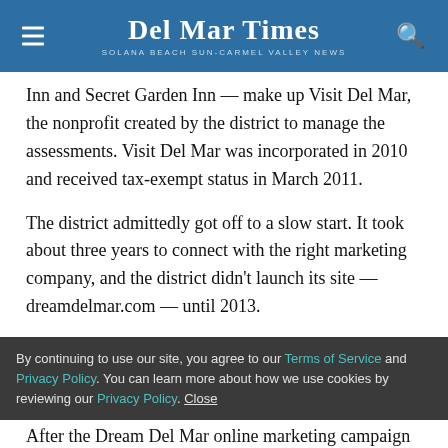Del Mar Times — Solana Beach Sun-Carmel Valley News
Inn and Secret Garden Inn — make up Visit Del Mar, the nonprofit created by the district to manage the assessments. Visit Del Mar was incorporated in 2010 and received tax-exempt status in March 2011.
The district admittedly got off to a slow start. It took about three years to connect with the right marketing company, and the district didn't launch its site — dreamdelmar.com — until 2013.
By continuing to use our site, you agree to our Terms of Service and Privacy Policy. You can learn more about how we use cookies by reviewing our Privacy Policy. Close
After the Dream Del Mar online marketing campaign